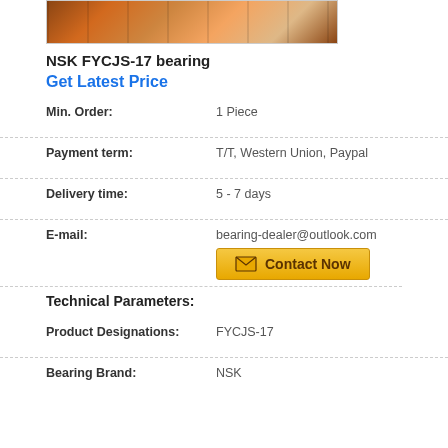[Figure (photo): Product photo showing stacked boxes/packages of bearings]
NSK FYCJS-17 bearing
Get Latest Price
| Min. Order: | 1 Piece |
| Payment term: | T/T, Western Union, Paypal |
| Delivery time: | 5 - 7 days |
| E-mail: | bearing-dealer@outlook.com |
Technical Parameters:
| Product Designations: | FYCJS-17 |
| Bearing Brand: | NSK |